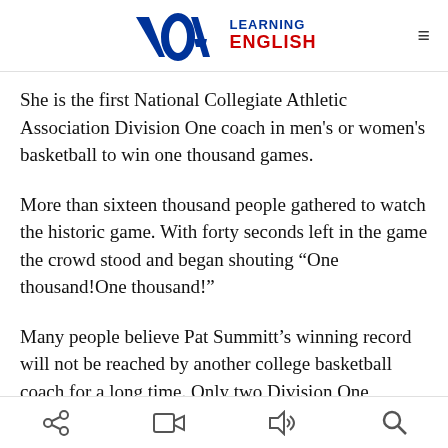VOA Learning English
She is the first National Collegiate Athletic Association Division One coach in men’s or women’s basketball to win one thousand games.
More than sixteen thousand people gathered to watch the historic game. With forty seconds left in the game the crowd stood and began shouting “One thousand!One thousand!”
Many people believe Pat Summitt’s winning record will not be reached by another college basketball coach for a long time. Only two Division One basketball coaches have had at least nine hundred wins. One is Bob Knight, the former coach at Indiana University and Texas Tech University. The other is former University
navigation icons: share, video, audio, search